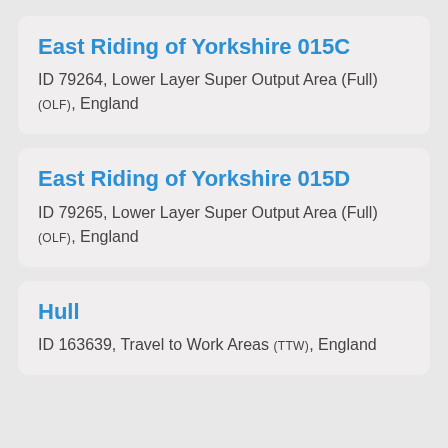East Riding of Yorkshire 015C
ID 79264, Lower Layer Super Output Area (Full) (OLF), England
East Riding of Yorkshire 015D
ID 79265, Lower Layer Super Output Area (Full) (OLF), England
Hull
ID 163639, Travel to Work Areas (TTW), England